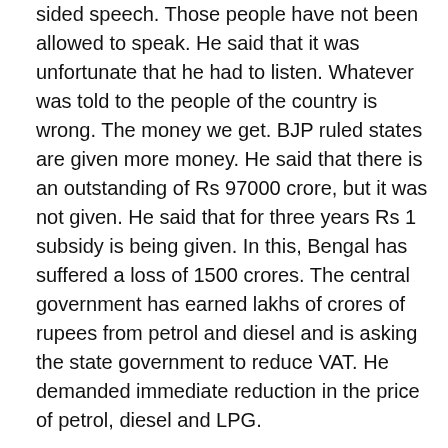sided speech. Those people have not been allowed to speak. He said that it was unfortunate that he had to listen. Whatever was told to the people of the country is wrong. The money we get. BJP ruled states are given more money. He said that there is an outstanding of Rs 97000 crore, but it was not given. He said that for three years Rs 1 subsidy is being given. In this, Bengal has suffered a loss of 1500 crores. The central government has earned lakhs of crores of rupees from petrol and diesel and is asking the state government to reduce VAT. He demanded immediate reduction in the price of petrol, diesel and LPG.